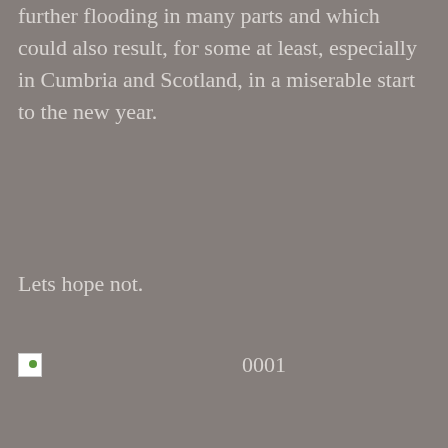further flooding in many parts and which could also result, for some at least, especially in Cumbria and Scotland, in a miserable start to the new year.
Lets hope not.
[Figure (other): Broken image icon placeholder with label 0001]